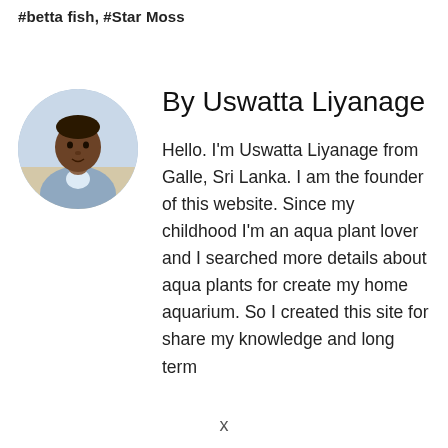#betta fish, #Star Moss
[Figure (photo): Circular profile photo of Uswatta Liyanage, a man in a light blue/grey shirt, outdoors with a light sky background.]
By Uswatta Liyanage
Hello. I'm Uswatta Liyanage from Galle, Sri Lanka. I am the founder of this website. Since my childhood I'm an aqua plant lover and I searched more details about aqua plants for create my home aquarium. So I created this site for share my knowledge and long term